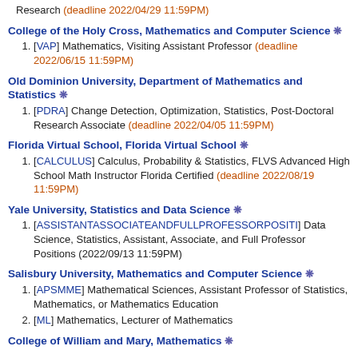Research (deadline 2022/04/29 11:59PM)
College of the Holy Cross, Mathematics and Computer Science ❋
[VAP] Mathematics, Visiting Assistant Professor (deadline 2022/06/15 11:59PM)
Old Dominion University, Department of Mathematics and Statistics ❋
[PDRA] Change Detection, Optimization, Statistics, Post-Doctoral Research Associate (deadline 2022/04/05 11:59PM)
Florida Virtual School, Florida Virtual School ❋
[CALCULUS] Calculus, Probability & Statistics, FLVS Advanced High School Math Instructor Florida Certified (deadline 2022/08/19 11:59PM)
Yale University, Statistics and Data Science ❋
[ASSISTANTASSOCIATEANDFULLPROFESSORPOSITI] Data Science, Statistics, Assistant, Associate, and Full Professor Positions (2022/09/13 11:59PM)
Salisbury University, Mathematics and Computer Science ❋
[APSMME] Mathematical Sciences, Assistant Professor of Statistics, Mathematics, or Mathematics Education
[ML] Mathematics, Lecturer of Mathematics
College of William and Mary, Mathematics ❋